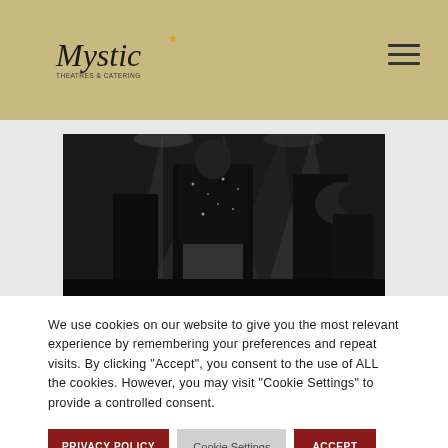Mystic (logo) — navigation header with hamburger menu
[Figure (photo): Black and white concert photo showing performer in sequined jacket on stage with brass instrument player visible, dramatic stage lighting]
Foreverland - The Electrifying Tribute to Michael Jackson
We use cookies on our website to give you the most relevant experience by remembering your preferences and repeat visits. By clicking "Accept", you consent to the use of ALL the cookies. However, you may visit "Cookie Settings" to provide a controlled consent.
PRIVACY POLICY | Cookie Settings | ACCEPT